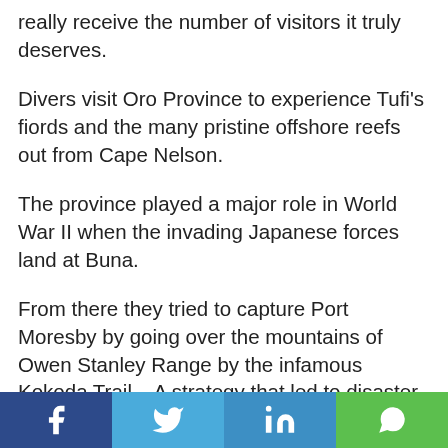really receive the number of visitors it truly deserves.
Divers visit Oro Province to experience Tufi's fiords and the many pristine offshore reefs out from Cape Nelson.
The province played a major role in World War II when the invading Japanese forces land at Buna.
From there they tried to capture Port Moresby by going over the mountains of Owen Stanley Range by the infamous Kokoda Trail... A strategy that led to disaster for the Japanese and what many consider to be the very finest
f  [Twitter bird]  in  [WhatsApp]